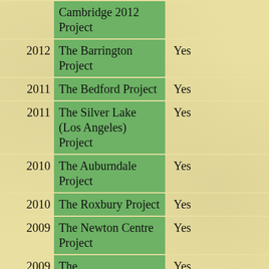| Year | Project Name | Approved |  |
| --- | --- | --- | --- |
|  | Cambridge 2012 Project |  |  |
| 2012 | The Barrington Project | Yes |  |
| 2011 | The Bedford Project | Yes |  |
| 2011 | The Silver Lake (Los Angeles) Project | Yes |  |
| 2010 | The Auburndale Project | Yes |  |
| 2010 | The Roxbury Project | Yes |  |
| 2009 | The Newton Centre Project | Yes |  |
| 2009 | The | Yes |  |